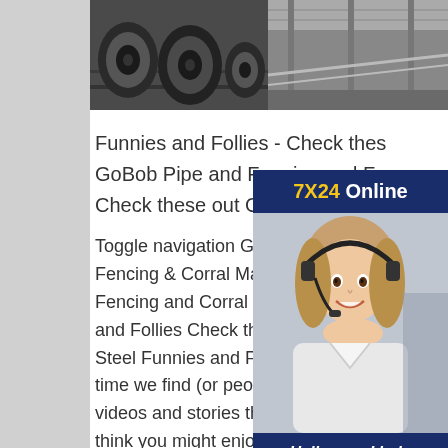[Figure (photo): Two industrial/steel manufacturing photos side by side: left shows steel coils stacked, right shows a factory conveyor/production line interior]
Funnies and Follies - Check thes
GoBob Pipe and Funnies and Fo
Check these out GoBob Pipe Ste
Toggle navigation GoBob Pipe & Fencing & Corral Material. Overview Fencing and Corral Materials; Funnies and Follies Check these out GoBob Steel Funnies and Follies . From time to time we find (or people send us) pictures, videos and stories that we enjoy and we think you might enjoy them as well. Funnies and Follies Check these out GoBob Pipe Steel Check out these Videos, Grandpa Gets an iPad Funnies
[Figure (photo): Customer service chat widget with a smiling woman wearing a headset. Header reads '7X24 Online'. Bottom section says 'Hello,may I help you?' with a 'Get Latest Price' button.]